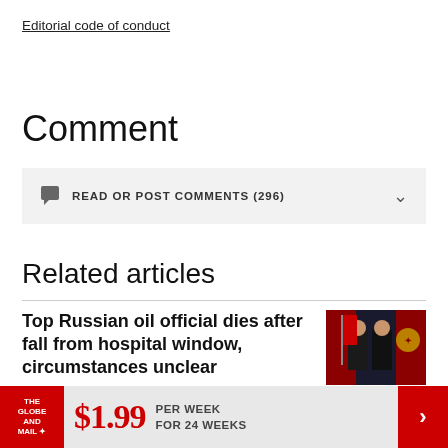Editorial code of conduct
Comment
READ OR POST COMMENTS (296)
Related articles
Top Russian oil official dies after fall from hospital window, circumstances unclear
4 HOURS AGO
[Figure (photo): Two men in suits standing together, one wearing medals, Russian flags/emblems visible in background]
$1.99 PER WEEK FOR 24 WEEKS